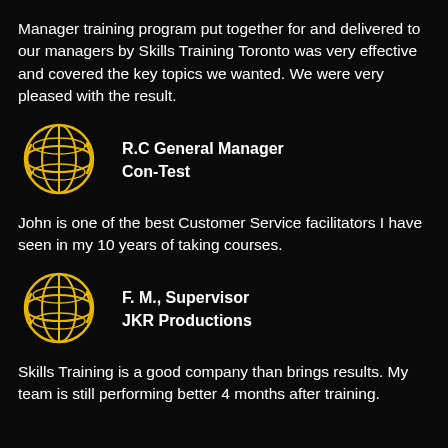Manager training program put together for and delivered to our managers by Skills Training Toronto was very effective and covered the key topics we wanted. We were very pleased with the result.
[Figure (illustration): Gold globe/world icon with grid lines and circular arrows]
R.C General Manager
Con-Test
John is one of the best Customer Service facilitators I have seen in my 10 years of taking courses.
[Figure (illustration): Gold globe/world icon with grid lines and circular arrows]
F. M., Supervisor
JKR Productions
Skills Training is a good company than brings results. My team is still performing better 4 months after training.